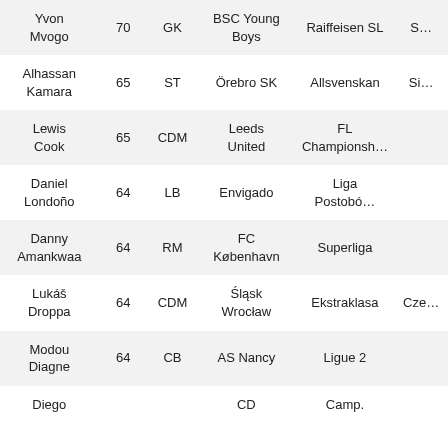| Name | Rating | Position | Club | League | Nationality |
| --- | --- | --- | --- | --- | --- |
| Yvon Mvogo | 70 | GK | BSC Young Boys | Raiffeisen SL | S… |
| Alhassan Kamara | 65 | ST | Örebro SK | Allsvenskan | Si… |
| Lewis Cook | 65 | CDM | Leeds United | FL Championsh… |  |
| Daniel Londoño | 64 | LB | Envigado | Liga Postobó… |  |
| Danny Amankwaa | 64 | RM | FC København | Superliga |  |
| Lukáš Droppa | 64 | CDM | Śląsk Wrocław | Ekstraklasa | Cze… |
| Modou Diagne | 64 | CB | AS Nancy | Ligue 2 |  |
| Diego |  |  | CD | Camp. |  |